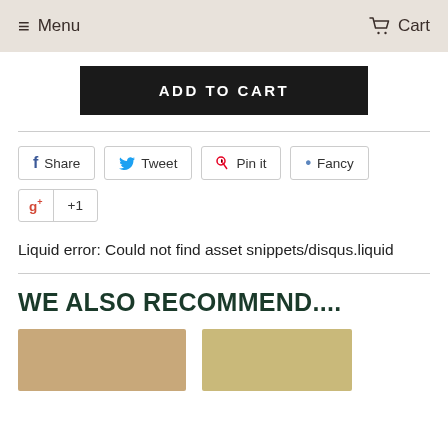≡ Menu   🛒 Cart
ADD TO CART
Share  Tweet  Pin it  Fancy  g+ +1
Liquid error: Could not find asset snippets/disqus.liquid
WE ALSO RECOMMEND....
[Figure (photo): Two product thumbnail images at the bottom of the page]